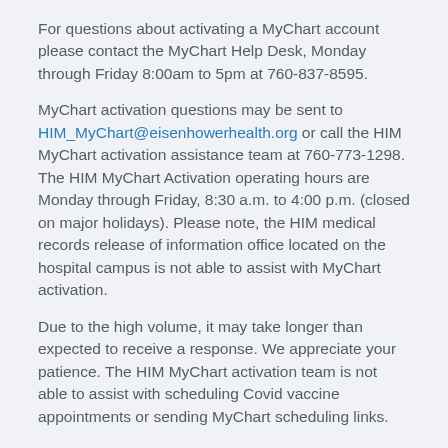For questions about activating a MyChart account please contact the MyChart Help Desk, Monday through Friday 8:00am to 5pm at 760-837-8595.
MyChart activation questions may be sent to HIM_MyChart@eisenhowerhealth.org or call the HIM MyChart activation assistance team at 760-773-1298. The HIM MyChart Activation operating hours are Monday through Friday, 8:30 a.m. to 4:00 p.m. (closed on major holidays). Please note, the HIM medical records release of information office located on the hospital campus is not able to assist with MyChart activation.
Due to the high volume, it may take longer than expected to receive a response. We appreciate your patience. The HIM MyChart activation team is not able to assist with scheduling Covid vaccine appointments or sending MyChart scheduling links.
Return to Top
What should I do if I have questions about my Bill or need an itemized Billing statement?